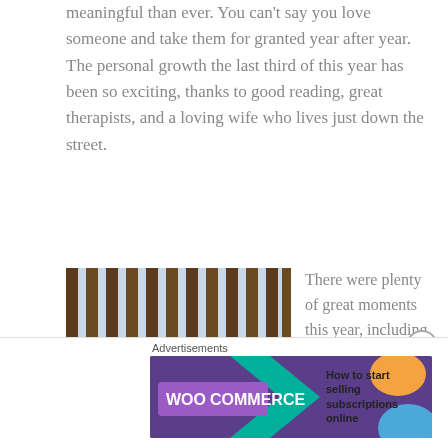meaningful than ever. You can't say you love someone and take them for granted year after year. The personal growth the last third of this year has been so exciting, thanks to good reading, great therapists, and a loving wife who lives just down the street.
[Figure (photo): A woman and a young girl standing in front of a wooden fence/border wall in a desert setting. The woman is wearing a dark red sleeveless top and black pants, holding hands with the small child who is wearing a floral dress.]
There were plenty of great moments this year, including our cross country, Atlanta to Portland, road trip. The meandering journey took us to the Arizona-
Advertisements | WooCommerce — How to start selling subscriptions online